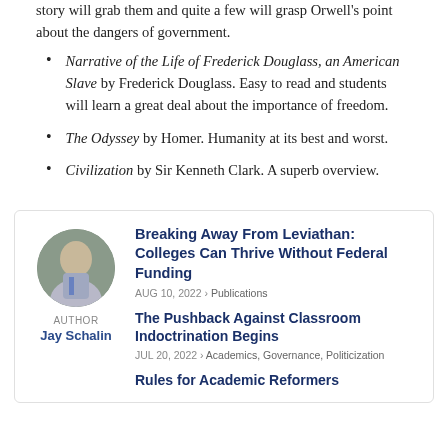story will grab them and quite a few will grasp Orwell's point about the dangers of government.
Narrative of the Life of Frederick Douglass, an American Slave by Frederick Douglass. Easy to read and students will learn a great deal about the importance of freedom.
The Odyssey by Homer. Humanity at its best and worst.
Civilization by Sir Kenneth Clark. A superb overview.
Breaking Away From Leviathan: Colleges Can Thrive Without Federal Funding
AUG 10, 2022 › Publications
The Pushback Against Classroom Indoctrination Begins
JUL 20, 2022 › Academics, Governance, Politicization
Rules for Academic Reformers
AUTHOR Jay Schalin